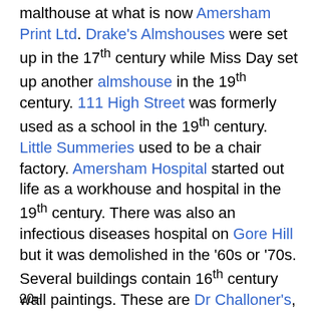malthouse at what is now Amersham Print Ltd. Drake's Almshouses were set up in the 17th century while Miss Day set up another almshouse in the 19th century. 111 High Street was formerly used as a school in the 19th century. Little Summeries used to be a chair factory. Amersham Hospital started out life as a workhouse and hospital in the 19th century. There was also an infectious diseases hospital on Gore Hill but it was demolished in the '60s or '70s. Several buildings contain 16th century wall paintings. These are Dr Challoner's, Selby House on Broadway, 56-60 High Street (which used to be all one house) and the Crown Hotel.
20th ...